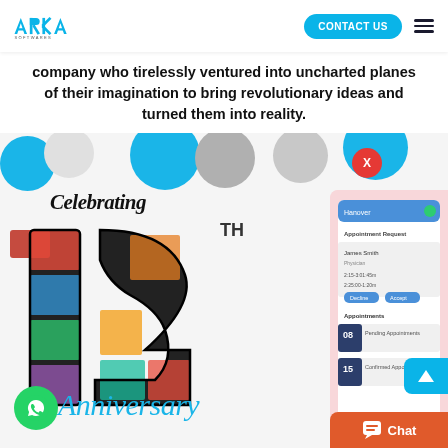[Figure (logo): Arka Softwares logo in blue with company name]
CONTACT US
company who tirelessly ventured into uncharted planes of their imagination to bring revolutionary ideas and turned them into reality.
[Figure (illustration): Celebrating 12TH Anniversary collage with photos inside '12' numeral shape, with 'Celebrating' in cursive above and 'Anniversary' in blue cursive below. Decorative blue and grey balloons in background. WhatsApp button bottom left.]
[Figure (screenshot): Mobile app screenshot showing appointment booking interface with names, times, and appointment counts]
Chat